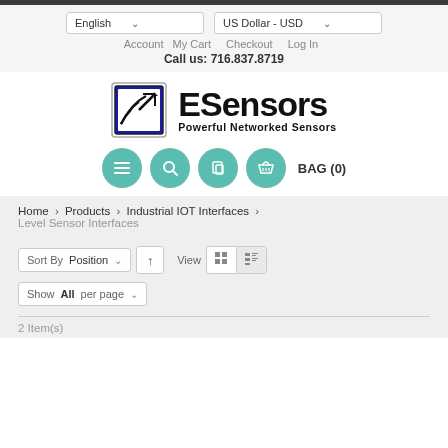English | US Dollar - USD | Account  My Cart  Checkout  Log In | Call us: 716.837.8719
[Figure (logo): ESensors logo with icon and text 'ESensors Powerful Networked Sensors']
[Figure (infographic): Navigation icon bar with four teal circle buttons (menu, search, copy, basket) and BAG (0) text]
Home > Products > Industrial IOT Interfaces > Level Sensor Interfaces
Sort By  Position  ↑  View  [grid] [list]
Show  All  per page
2 Item(s)